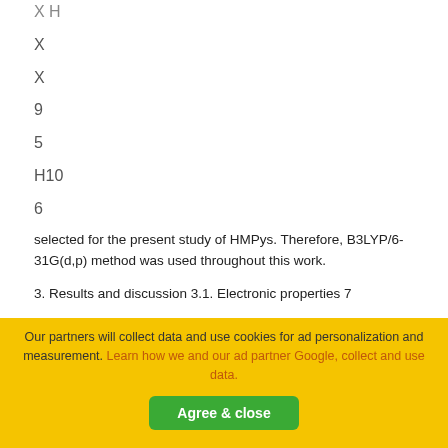X H
X
X
9
5
H10
6
selected for the present study of HMPys. Therefore, B3LYP/6-31G(d,p) method was used throughout this work.
3. Results and discussion 3.1. Electronic properties 7
H
Our partners will collect data and use cookies for ad personalization and measurement. Learn how we and our ad partner Google, collect and use data.